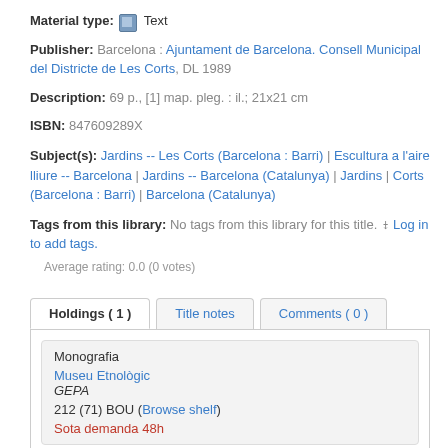Material type: Text
Publisher: Barcelona : Ajuntament de Barcelona. Consell Municipal del Districte de Les Corts, DL 1989
Description: 69 p., [1] map. pleg. : il.; 21x21 cm
ISBN: 847609289X
Subject(s): Jardins -- Les Corts (Barcelona : Barri) | Escultura a l'aire lliure -- Barcelona | Jardins -- Barcelona (Catalunya) | Jardins | Corts (Barcelona : Barri) | Barcelona (Catalunya)
Tags from this library: No tags from this library for this title. Log in to add tags.
Average rating: 0.0 (0 votes)
| Monografia |  |  |
| Museu Etnològic |  |  |
| GEPA |  |  |
| 212 (71) BOU (Browse shelf) |  |  |
| Sota demanda 48h |  |  |